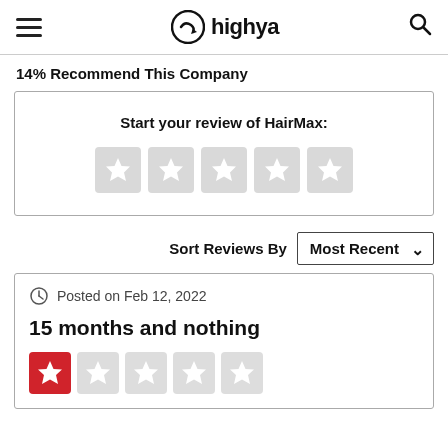highya
14% Recommend This Company
Start your review of HairMax:
Sort Reviews By  Most Recent
Posted on Feb 12, 2022
15 months and nothing